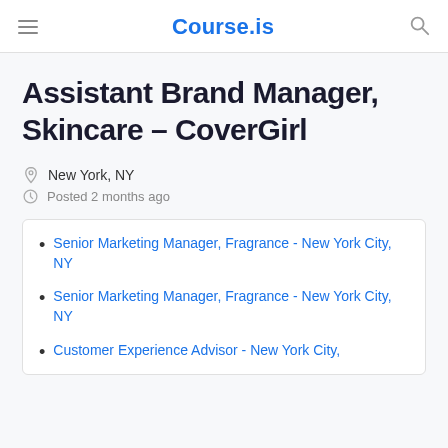Course.is
Assistant Brand Manager, Skincare – CoverGirl
New York, NY
Posted 2 months ago
Senior Marketing Manager, Fragrance - New York City, NY
Senior Marketing Manager, Fragrance - New York City, NY
Customer Experience Advisor - New York City,